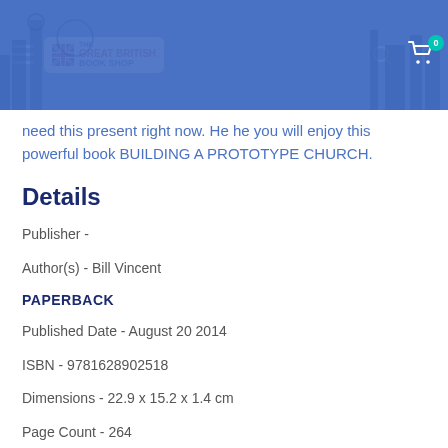The Great British Book Shop
need this present right now. He he you will enjoy this powerful book BUILDING A PROTOTYPE CHURCH.
Details
Publisher -
Author(s) - Bill Vincent
PAPERBACK
Published Date - August 20 2014
ISBN - 9781628902518
Dimensions - 22.9 x 15.2 x 1.4 cm
Page Count - 264